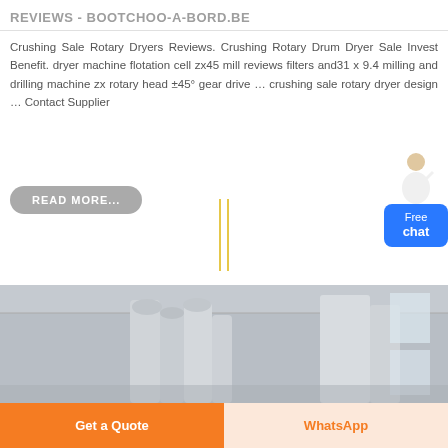REVIEWS - BOOTCHOO-A-BORD.BE
Crushing Sale Rotary Dryers Reviews. Crushing Rotary Drum Dryer Sale Invest Benefit. dryer machine flotation cell zx45 mill reviews filters and31 x 9.4 milling and drilling machine zx rotary head ±45° gear drive … crushing sale rotary dryer design … Contact Supplier
[Figure (photo): Industrial rotary dryer equipment inside a warehouse, large cylindrical ducts and machinery visible]
Get a Quote
WhatsApp